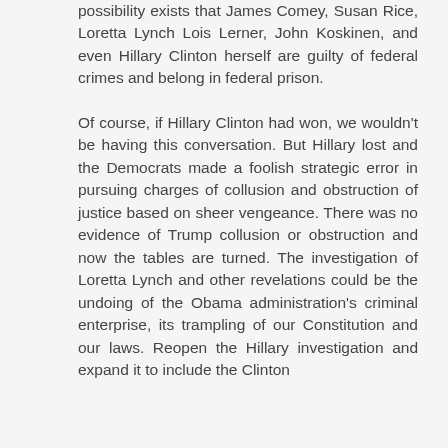possibility exists that James Comey, Susan Rice, Loretta Lynch Lois Lerner, John Koskinen, and even Hillary Clinton herself are guilty of federal crimes and belong in federal prison.
Of course, if Hillary Clinton had won, we wouldn't be having this conversation. But Hillary lost and the Democrats made a foolish strategic error in pursuing charges of collusion and obstruction of justice based on sheer vengeance. There was no evidence of Trump collusion or obstruction and now the tables are turned. The investigation of Loretta Lynch and other revelations could be the undoing of the Obama administration's criminal enterprise, its trampling of our Constitution and our laws. Reopen the Hillary investigation and expand it to include the Clinton